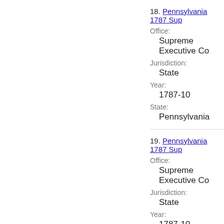18. Pennsylvania 1787 Sup...
Office:
Supreme Executive Co...
Jurisdiction:
State
Year:
1787-10
State:
Pennsylvania
19. Pennsylvania 1787 Sup...
Office:
Supreme Executive Co...
Jurisdiction:
State
Year:
1787-10
State:
Pennsylvania